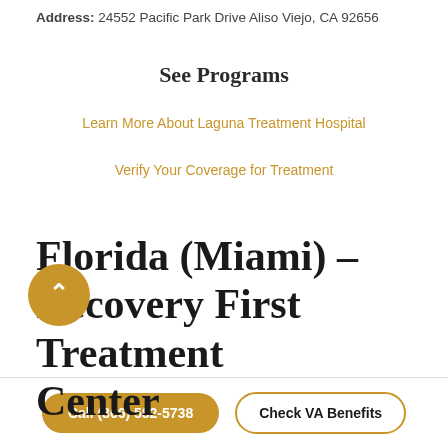Address: 24552 Pacific Park Drive Aliso Viejo, CA 92656
See Programs
Learn More About Laguna Treatment Hospital
Verify Your Coverage for Treatment
Florida (Miami) – Recovery First Treatment Center
Call (866) 582-5738
Check VA Benefits